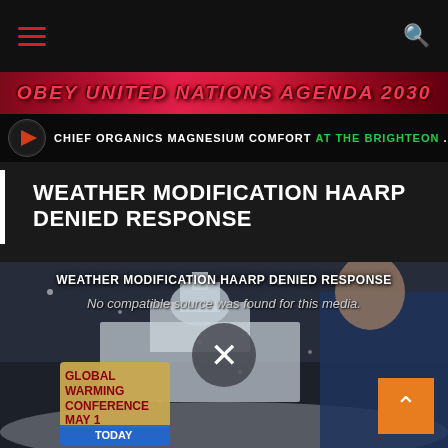Navigation bar with hamburger menu and search icon
[Figure (screenshot): Banner ad showing 'OBEY UNITED NATIONS AGENDA 2030' in red stylized text on dark/red background]
[Figure (screenshot): Banner ad: CHIEF ORGANICS MAGNESIUM COMFORT AT THE BRIGHTEON with Brighteon logo]
WEATHER MODIFICATION HAARP DENIED RESPONSE
[Figure (screenshot): Video player showing snowy Capitol building scene with man in blue coat, 'GLOBAL WARMING CONFERENCE MAY 1 TODAY' sign, X close button overlay, and 'No compatible source was found for this media.' message. Title overlay reads 'WEATHER MODIFICATION HAARP DENIED RESPONSE'.]